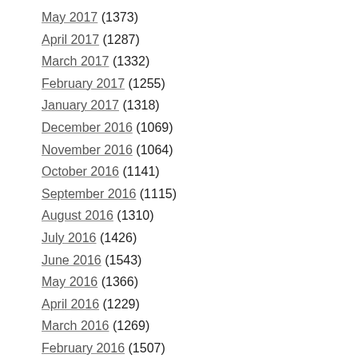May 2017 (1373)
April 2017 (1287)
March 2017 (1332)
February 2017 (1255)
January 2017 (1318)
December 2016 (1069)
November 2016 (1064)
October 2016 (1141)
September 2016 (1115)
August 2016 (1310)
July 2016 (1426)
June 2016 (1543)
May 2016 (1366)
April 2016 (1229)
March 2016 (1269)
February 2016 (1507)
January 2016 (1715)
December 2015 (1522)
November 2015 (1694)